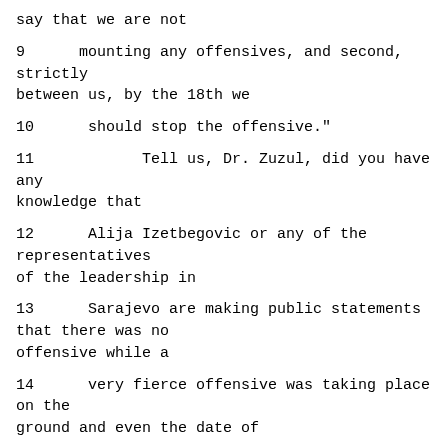say that we are not
9      mounting any offensives, and second, strictly between us, by the 18th we
10      should stop the offensive."
11            Tell us, Dr. Zuzul, did you have any knowledge that
12      Alija Izetbegovic or any of the representatives of the leadership in
13      Sarajevo are making public statements that there was no offensive while a
14      very fierce offensive was taking place on the ground and even the date of